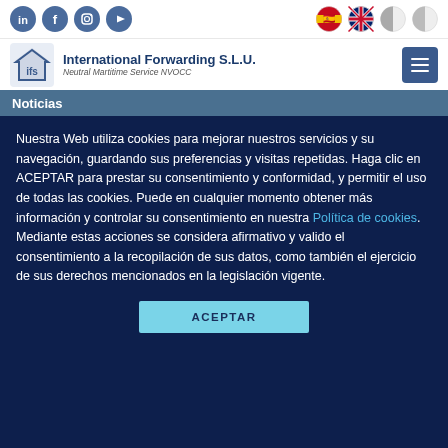Social icons: LinkedIn, Facebook, Instagram, YouTube | Language flags: Spain, UK, France(?), Portugal(?)
[Figure (logo): IFS International Forwarding S.L.U. logo with text 'Neutral Maritime Service NVOCC']
Noticias
Nuestra Web utiliza cookies para mejorar nuestros servicios y su navegación, guardando sus preferencias y visitas repetidas. Haga clic en ACEPTAR para prestar su consentimiento y conformidad, y permitir el uso de todas las cookies. Puede en cualquier momento obtener más información y controlar su consentimiento en nuestra Política de cookies. Mediante estas acciones se considera afirmativo y valido el consentimiento a la recopilación de sus datos, como también el ejercicio de sus derechos mencionados en la legislación vigente.
ACEPTAR